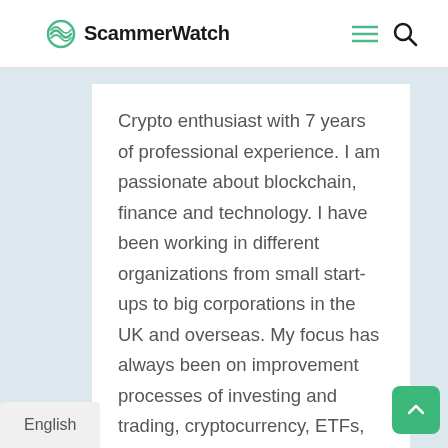ScammerWatch
Crypto enthusiast with 7 years of professional experience. I am passionate about blockchain, finance and technology. I have been working in different organizations from small start-ups to big corporations in the UK and overseas. My focus has always been on improvement processes of investing and trading, cryptocurrency, ETFs, and alternative investments. Previously was a reporter with Wilmington Business Journal and business producer for